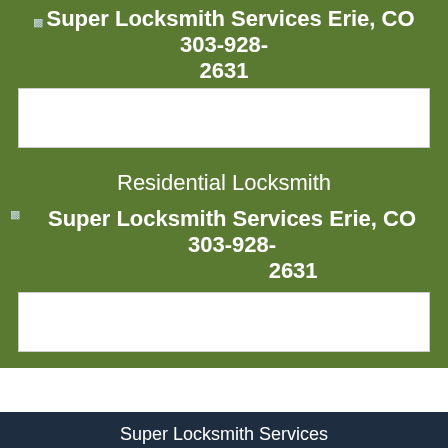Super Locksmith Services Erie, CO 303-928-2631
[Figure (other): White placeholder image box (broken/loading image)]
Residential Locksmith
Super Locksmith Services Erie, CO 303-928-2631
[Figure (other): White placeholder image box (broken/loading image)]
Super Locksmith Services
Super Locksmith Services | Hours: Monday through Sunday, All day [  map & reviews  ]
Phone:  303-928-2631  |  https://Erie.Super-Locksmith-Services.com
Erie, CO 80516 (Directions/location)